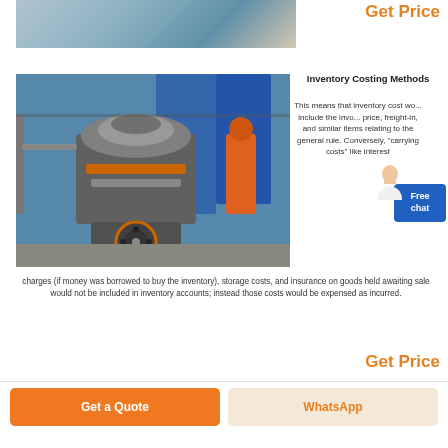[Figure (photo): Industrial equipment photo strip at top]
Get Price
[Figure (photo): Industrial grinding mill machine in outdoor facility with blue silos and orange worker visible]
Inventory Costing Methods
This means that inventory cost would include the invoice price, freight-in, and similar items relating to the general rule. Conversely, "carrying costs" like interest charges (if money was borrowed to buy the inventory), storage costs, and insurance on goods held awaiting sale would not be included in inventory accounts; instead those costs would be expensed as incurred.
Get Price
Get a Quote
WhatsApp